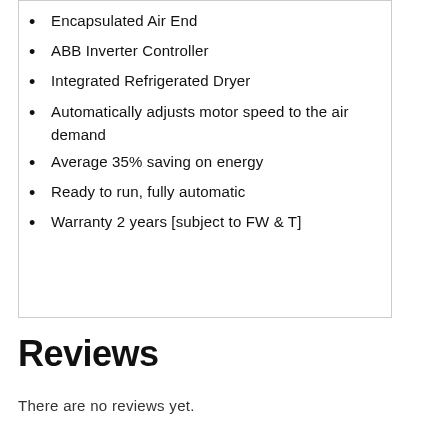Encapsulated Air End
ABB Inverter Controller
Integrated Refrigerated Dryer
Automatically adjusts motor speed to the air demand
Average 35% saving on energy
Ready to run, fully automatic
Warranty 2 years [subject to FW & T]
Reviews
There are no reviews yet.